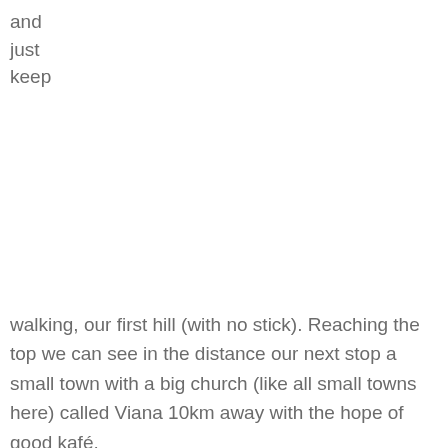and
just
keep
walking, our first hill (with no stick). Reaching the top we can see in the distance our next stop a small town with a big church (like all small towns here) called Viana 10km away with the hope of good kafé.
Up and down we walked both swapping horror stories of